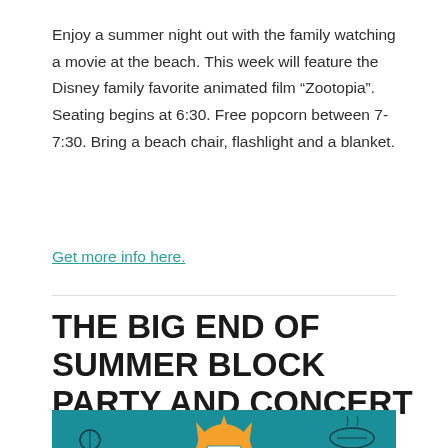Enjoy a summer night out with the family watching a movie at the beach. This week will feature the Disney family favorite animated film “Zootopia”.  Seating begins at 6:30. Free popcorn between 7-7:30. Bring a beach chair, flashlight and a blanket.
Get more info here.
THE BIG END OF SUMMER BLOCK PARTY AND CONCERT
[Figure (illustration): Teal/turquoise banner with summer event theme: sun with yellow triangular rays in center, 'EVENT SANTA CRUZ' badge, white clouds at bottom, microphone on left, food/hotdog on right, cactus and bird outlines.]